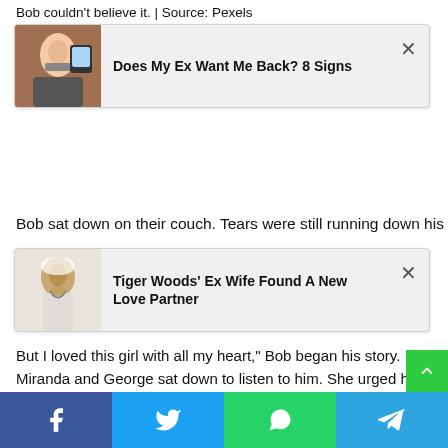Bob couldn't believe it. | Source: Pexels
[Figure (photo): Woman looking at phone, ad card: Does My Ex Want Me Back? 8 Signs]
comes as a shock. We were surprised too. But ...n is just meant with the... happened at first... so it's actually pretty possible," George insisted
Bob sat down on their couch. Tears were still running down his
[Figure (photo): Tiger Woods crying, ad card: Tiger Woods' Ex Wife Found A New Love Partner]
opened the wallet once again. "This is Clarabelle... ...partner and the pain we both move me... We were never married and were always finding...
But I loved this girl with all my heart," Bob began his story. Miranda and George sat down to listen to him. She urged him to continue.
"One day, Clarabelle's mom disappeared. She took my child and was gone. I reported her to the police. I did everything I could. But back then, there were no laws like there are now about kidnappings. If a parent took the kid, it was not considered kidnapping even if the other parent disagreed, s